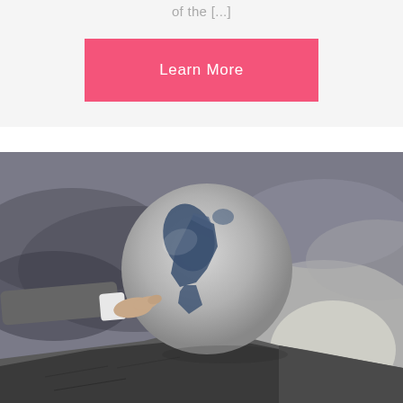of the [...]
Learn More
[Figure (photo): A person's hand pointing at a stone globe balanced on the edge of a rocky cliff, with a dramatic stormy sky in the background. The globe has blue continents (Americas visible) on a grey stone texture.]